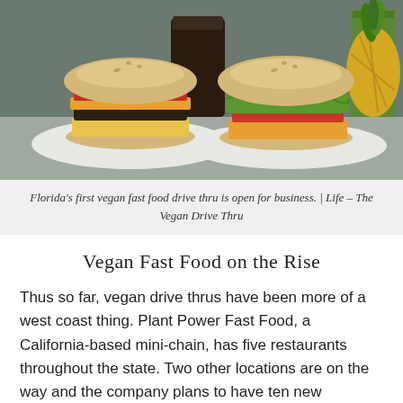[Figure (photo): Two vegan burgers on white plates on a metal surface. Left burger has cheese and red sauce, right burger has lettuce, tomato and cheese. A dark drink and pineapple visible in background.]
Florida's first vegan fast food drive thru is open for business. | Life – The Vegan Drive Thru
Vegan Fast Food on the Rise
Thus so far, vegan drive thrus have been more of a west coast thing. Plant Power Fast Food, a California-based mini-chain, has five restaurants throughout the state. Two other locations are on the way and the company plans to have ten new locations by 2021.